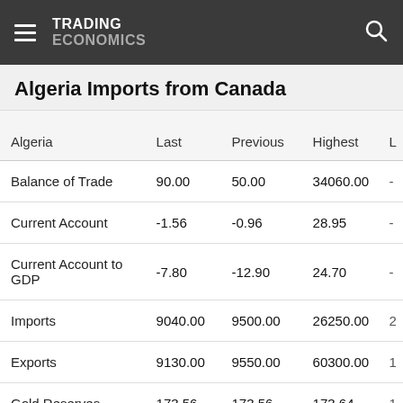TRADING ECONOMICS
Algeria Imports from Canada
| Algeria | Last | Previous | Highest | L |
| --- | --- | --- | --- | --- |
| Balance of Trade | 90.00 | 50.00 | 34060.00 | - |
| Current Account | -1.56 | -0.96 | 28.95 | - |
| Current Account to GDP | -7.80 | -12.90 | 24.70 | - |
| Imports | 9040.00 | 9500.00 | 26250.00 | 2 |
| Exports | 9130.00 | 9550.00 | 60300.00 | 1 |
| Gold Reserves | 173.56 | 173.56 | 173.64 | 1 |
| Crude Oil Production | 1027.00 | 1015.00 | 1427.00 | 7 |
| Terrorism Index | 2.70 | 3.41 | 7.23 | 2 |